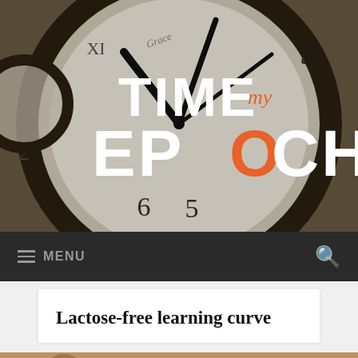[Figure (photo): Hero banner showing antique clock face with Roman numerals and clock hands as background image. Bold white text reads TIME my EPOCH overlaid on the image, with 'my' in orange italic script and 'O' in EPOCH highlighted in orange.]
≡ MENU  🔍
Lactose-free learning curve
[Figure (photo): Partial view of cows or farm animals at the bottom of the page, cropped.]